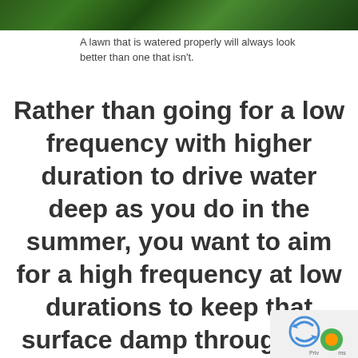[Figure (photo): Strip of green grass lawn at the top of the page]
A lawn that is watered properly will always look better than one that isn't.
Rather than going for a low frequency with higher duration to drive water deep as you do in the summer, you want to aim for a high frequency at low durations to keep that surface damp through the day. High frequency means watering three times a day, every day, adjusting only for measurable rainfall. duration, on the other hand, means so...